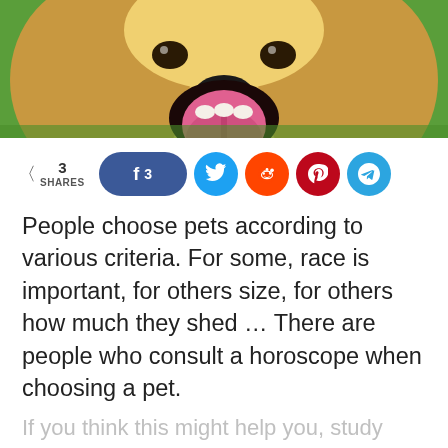[Figure (photo): Close-up photo of a golden retriever dog with mouth open, tongue out, against green grass background]
3 SHARES
[Figure (infographic): Social share buttons: Facebook (3 shares), Twitter, Reddit, Pinterest, Telegram]
People choose pets according to various criteria. For some, race is important, for others size, for others how much they shed … There are people who consult a horoscope when choosing a pet.
If you think this might help you, study your zodiac sign and find out what kind of...